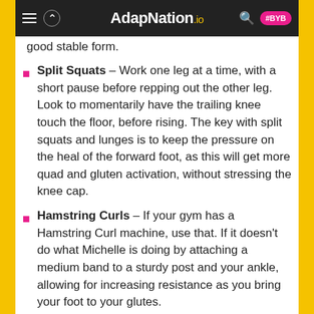AdapNation.io
good stable form.
Split Squats – Work one leg at a time, with a short pause before repping out the other leg. Look to momentarily have the trailing knee touch the floor, before rising. The key with split squats and lunges is to keep the pressure on the heal of the forward foot, as this will get more quad and gluten activation, without stressing the knee cap.
Hamstring Curls – If your gym has a Hamstring Curl machine, use that. If it doesn't do what Michelle is doing by attaching a medium band to a sturdy post and your ankle, allowing for increasing resistance as you bring your foot to your glutes.
Good Mornings – Make sure the weight is not too heavy, so that you feel the majority